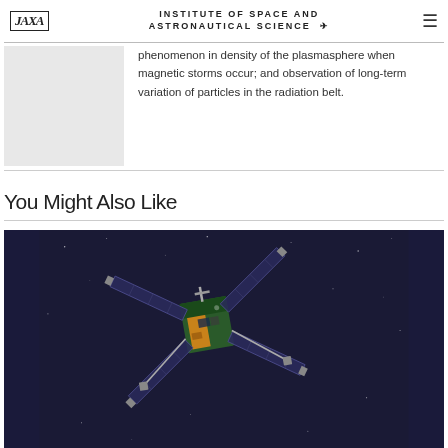JAXA — INSTITUTE OF SPACE AND ASTRONAUTICAL SCIENCE
phenomenon in density of the plasmasphere when magnetic storms occur; and observation of long-term variation of particles in the radiation belt.
You Might Also Like
[Figure (photo): Photograph of a satellite (spacecraft) against a dark starry space background. The satellite has solar panels extending diagonally and a gold/green body with complex mechanical structures.]